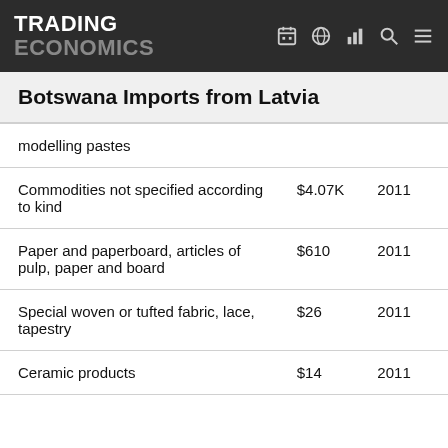TRADING ECONOMICS
Botswana Imports from Latvia
| Product | Value | Year |
| --- | --- | --- |
| modelling pastes |  |  |
| Commodities not specified according to kind | $4.07K | 2011 |
| Paper and paperboard, articles of pulp, paper and board | $610 | 2011 |
| Special woven or tufted fabric, lace, tapestry | $26 | 2011 |
| Ceramic products | $14 | 2011 |